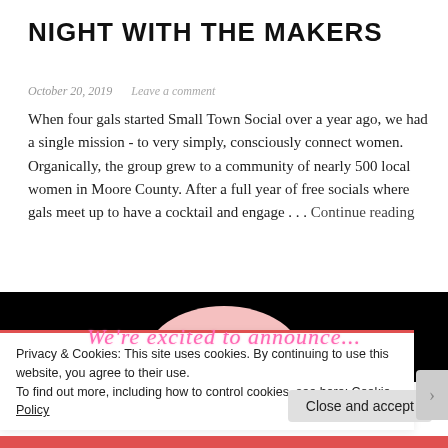NIGHT WITH THE MAKERS
October 20, 2019    Leave a comment
When four gals started Small Town Social over a year ago, we had a single mission - to very simply, consciously connect women. Organically, the group grew to a community of nearly 500 local women in Moore County. After a full year of free socials where gals meet up to have a cocktail and engage . . . Continue reading
[Figure (photo): Dark background image with pink circle and pink cursive script text reading 'We're excited to announce...']
Privacy & Cookies: This site uses cookies. By continuing to use this website, you agree to their use.
To find out more, including how to control cookies, see here: Cookie Policy
Close and accept